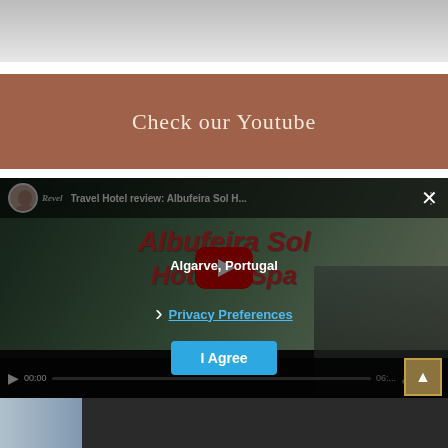[Figure (photo): Top portion of an image, appears to be a grey/light-colored photo, cropped at top of page]
Check our Youtube
[Figure (screenshot): YouTube video player embed showing 'Travel Hotel review: Albufeira Sol H...' with red overlay text 'Albufeira Sol Hotel & Spa', YouTube play button overlay, and video controls. A privacy preferences overlay with 'Algarve, Portugal' text, 'Privacy Preferences' link, 'I Agree' button is shown.]
[Figure (photo): Bottom strip showing next video thumbnail with a person]